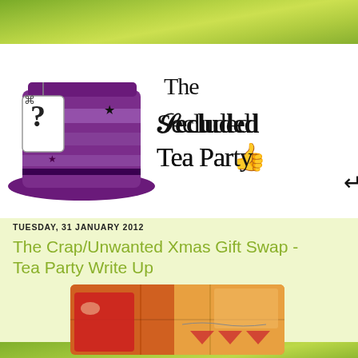[Figure (illustration): Top green bokeh/grass background strip]
[Figure (logo): The Secluded Tea Party blog logo featuring a purple top hat with question mark tag and decorative script text reading 'The Secluded Tea Party']
TUESDAY, 31 JANUARY 2012
The Crap/Unwanted Xmas Gift Swap - Tea Party Write Up
[Figure (photo): Photo showing wrapped/boxed gifts with orange/red tones and decorative bunting]
[Figure (illustration): Bottom green bokeh/grass background strip]